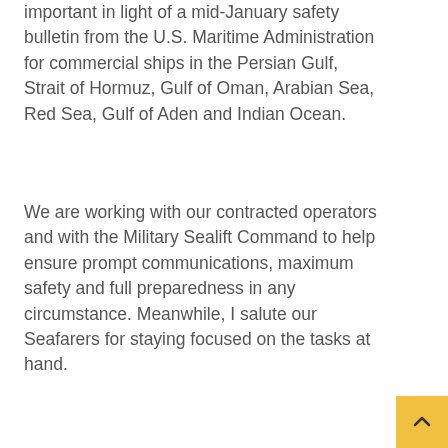important in light of a mid-January safety bulletin from the U.S. Maritime Administration for commercial ships in the Persian Gulf, Strait of Hormuz, Gulf of Oman, Arabian Sea, Red Sea, Gulf of Aden and Indian Ocean.
We are working with our contracted operators and with the Military Sealift Command to help ensure prompt communications, maximum safety and full preparedness in any circumstance. Meanwhile, I salute our Seafarers for staying focused on the tasks at hand.